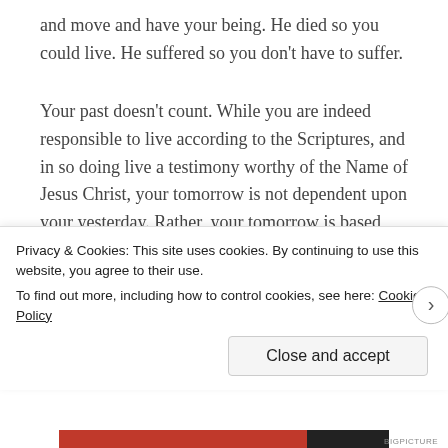and move and have your being. He died so you could live. He suffered so you don't have to suffer.
Your past doesn't count. While you are indeed responsible to live according to the Scriptures, and in so doing live a testimony worthy of the Name of Jesus Christ, your tomorrow is not dependent upon your yesterday. Rather, your tomorrow is based upon your faith today. Your faith is based solely upon the Word of God; not your history, emotions, or experience. If God said
Privacy & Cookies: This site uses cookies. By continuing to use this website, you agree to their use.
To find out more, including how to control cookies, see here: Cookie Policy